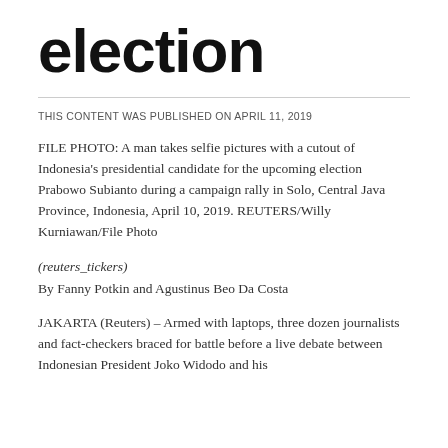election
THIS CONTENT WAS PUBLISHED ON APRIL 11, 2019
FILE PHOTO: A man takes selfie pictures with a cutout of Indonesia's presidential candidate for the upcoming election Prabowo Subianto during a campaign rally in Solo, Central Java Province, Indonesia, April 10, 2019. REUTERS/Willy Kurniawan/File Photo
(reuters_tickers)
By Fanny Potkin and Agustinus Beo Da Costa
JAKARTA (Reuters) – Armed with laptops, three dozen journalists and fact-checkers braced for battle before a live debate between Indonesian President Joko Widodo and his...